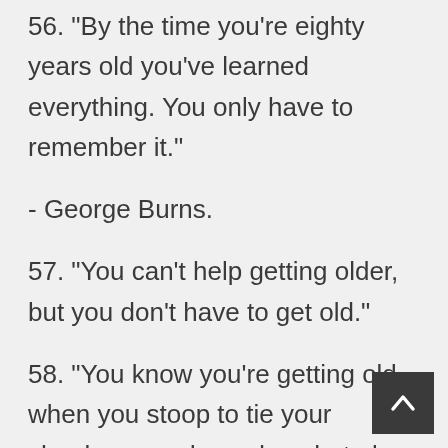56. "By the time you're eighty years old you've learned everything. You only have to remember it."
- George Burns.
57. "You can't help getting older, but you don't have to get old."
58. "You know you're getting old when you stoop to tie your shoelaces and wonder what else you could do while you're down there."
- George Burns.
59. "I'm very pleased to be here. Let's face it, at